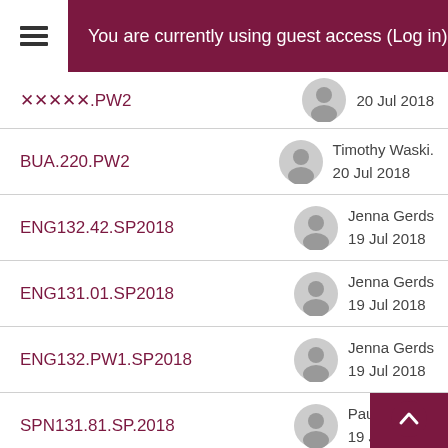You are currently using guest access (Log in)
BUA.220.PW2 — Timothy Waski. 20 Jul 2018
ENG132.42.SP2018 — Jenna Gerds 19 Jul 2018
ENG131.01.SP2018 — Jenna Gerds 19 Jul 2018
ENG132.PW1.SP2018 — Jenna Gerds 19 Jul 2018
SPN131.81.SP.2018 — Paul Han... 19 Jul 201...
Com 231.H96A — Tamara Hindes 18 Jul 2018